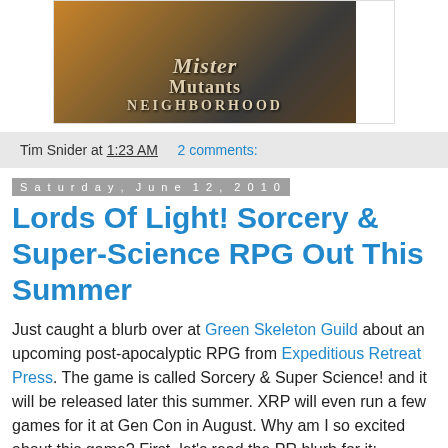[Figure (photo): Mister Mutants Neighborhood logo/banner image with post-apocalyptic styling]
Tim Snider at 1:23 AM    2 comments:
Saturday, June 12, 2010
Lords Of Light! Sorcery & Super-Science RPG Out This Summer
Just caught a blurb over at Green Skeleton Guild about an upcoming post-apocalyptic RPG from Expeditious Retreat Press. The game is called Sorcery & Super Science! and it will be released later this summer. XRP will even run a few games for it at Gen Con in August. Why am I so excited about this game? First, let's read the PR blurb for it:
"After the crushing of...